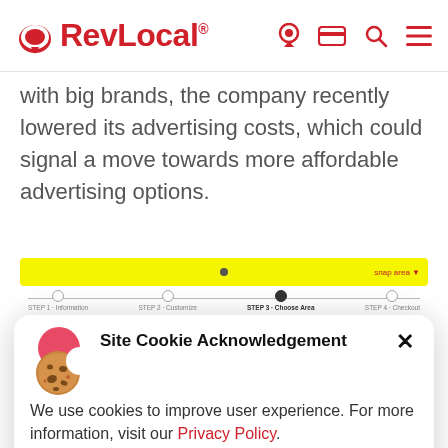RevLocal® [navigation icons: location, card, search, menu]
with big brands, the company recently lowered its advertising costs, which could signal a move towards more affordable advertising options.
[Figure (screenshot): A Snapchat Geofilter creation widget showing a yellow banner bar at the top and a step progress indicator with 4 steps: Step 1 (Information), Step 2 (Customize), Step 3 (Choose Area) [active], Step 4 (Checkout).]
Site Cookie Acknowledgement
We use cookies to improve user experience. For more information, visit our Privacy Policy.
ACCEPT
local businesses are already taking advantage of is Geofilters. Geofilters are